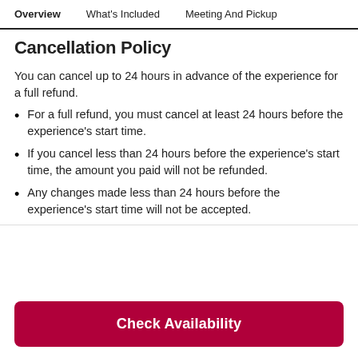Overview  What's Included  Meeting And Pickup
Cancellation Policy
You can cancel up to 24 hours in advance of the experience for a full refund.
For a full refund, you must cancel at least 24 hours before the experience's start time.
If you cancel less than 24 hours before the experience's start time, the amount you paid will not be refunded.
Any changes made less than 24 hours before the experience's start time will not be accepted.
Check Availability